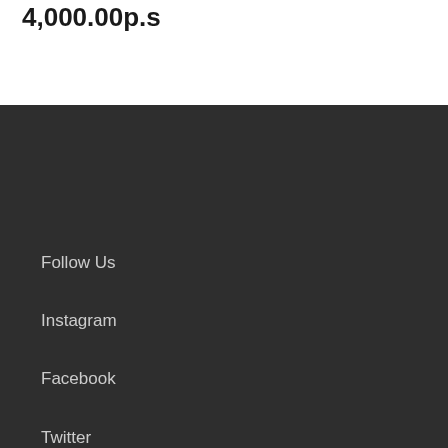4,000.00p.s
Follow Us
Instagram
Facebook
Twitter
Help
About Us